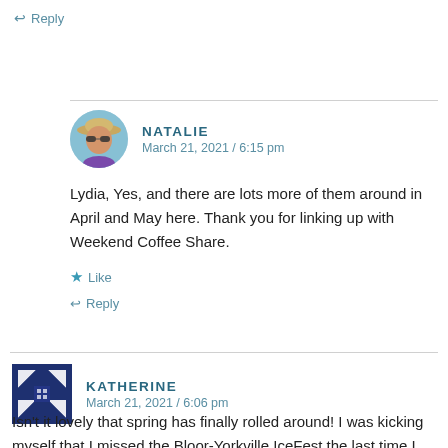↩ Reply
[Figure (photo): Avatar photo of Natalie, a woman wearing a hat and sunglasses]
NATALIE
March 21, 2021 / 6:15 pm
Lydia, Yes, and there are lots more of them around in April and May here. Thank you for linking up with Weekend Coffee Share.
★ Like
↩ Reply
[Figure (illustration): Avatar icon for Katherine, dark blue geometric/quilt pattern square]
KATHERINE
March 21, 2021 / 6:06 pm
Isn't it lovely that spring has finally rolled around! I was kicking myself that I missed the Bloor-Yorkville IceFest the last time I